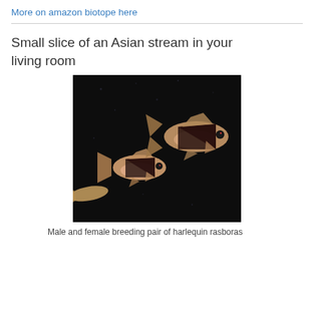More on amazon biotope here
Small slice of an Asian stream in your living room
[Figure (photo): Two harlequin rasbora fish swimming against a dark background — a male and female breeding pair. The fish have triangular dark patches on their sides and pinkish-orange coloring.]
Male and female breeding pair of harlequin rasboras